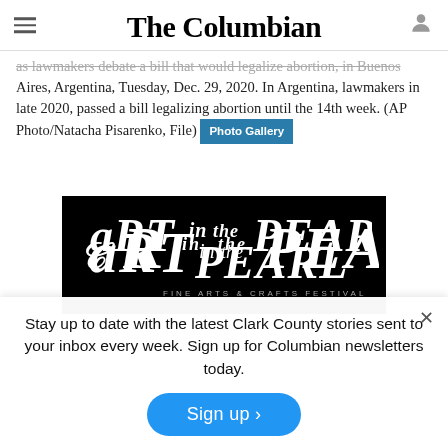The Columbian
as lawmakers debate a bill that would legalize abortion, in Buenos Aires, Argentina, Tuesday, Dec. 29, 2020. In Argentina, lawmakers in late 2020, passed a bill legalizing abortion until the 14th week. (AP Photo/Natacha Pisarenko, File)  [Photo Gallery]
[Figure (logo): Art in the Pearl fine arts and crafts festival logo — white script text on black background]
Stay up to date with the latest Clark County stories sent to your inbox every week. Sign up for Columbian newsletters today.
Sign up >
BY JULIA Col...